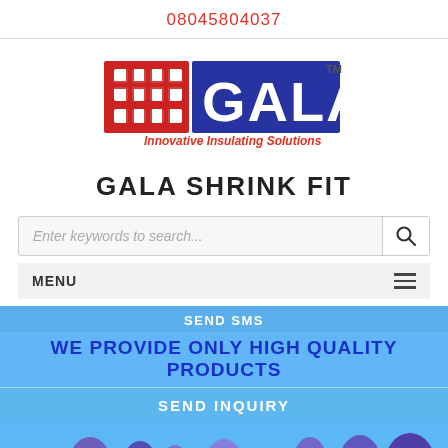08045804037
[Figure (logo): GALA logo with red decorative square and blue rectangle with white GALA text and TM mark, red italic text 'Innovative Insulating Solutions' below]
GALA SHRINK FIT
Enter keywords to search...
MENU
SEND SMS
WE PROVIDE ONLY HIGH QUALITY PRODUCTS
SEND INQUIRY